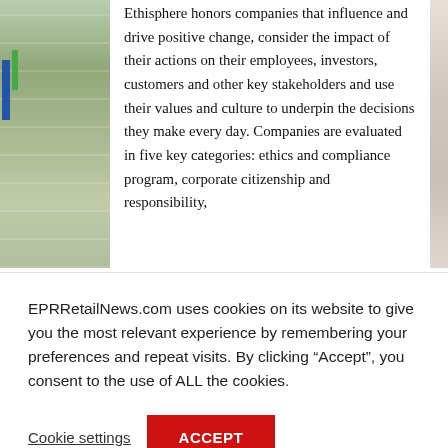[Figure (photo): Left portion of a store/retail shelf image, cropped, showing colorful product packaging on shelves]
Ethisphere honors companies that influence and drive positive change, consider the impact of their actions on their employees, investors, customers and other key stakeholders and use their values and culture to underpin the decisions they make every day. Companies are evaluated in five key categories: ethics and compliance program, corporate citizenship and responsibility,
[Figure (photo): Right edge of an image, partially visible]
EPRRetailNews.com uses cookies on its website to give you the most relevant experience by remembering your preferences and repeat visits. By clicking “Accept”, you consent to the use of ALL the cookies.
Cookie settings
ACCEPT